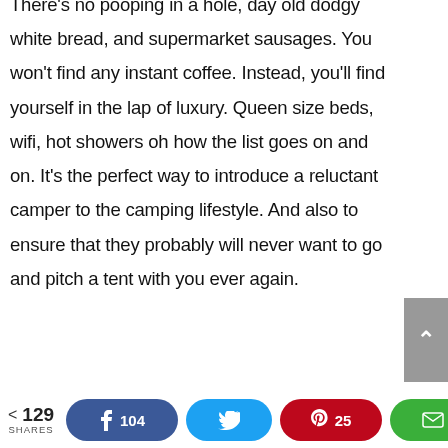There's no pooping in a hole, day old dodgy white bread, and supermarket sausages. You won't find any instant coffee. Instead, you'll find yourself in the lap of luxury. Queen size beds, wifi, hot showers oh how the list goes on and on. It's the perfect way to introduce a reluctant camper to the camping lifestyle. And also to ensure that they probably will never want to go and pitch a tent with you ever again.